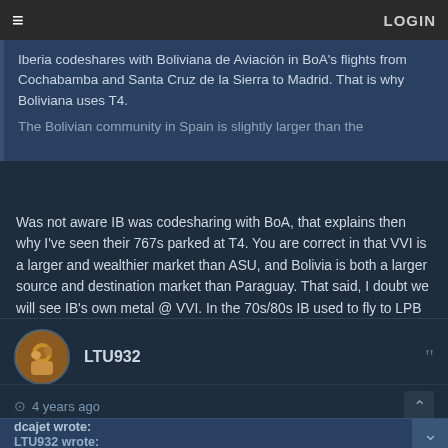≡   LOGIN
Iberia codeshares with Boliviana de Aviación in BoA's flights from Cochabamba and Santa Cruz de la Sierra to Madrid. That is why Boliviana uses T4.

The Bolivian community in Spain is slightly larger than the
Was not aware IB was codesharing with BoA, that explains then why I've seen their 767s parked at T4. You are correct in that VVI is a larger and wealthier market than ASU, and Bolivia is both a larger source and destination market than Paraguay. That said, I doubt we will see IB's own metal @ VVI. In the 70s/80s IB used to fly to LPB (via LIM, if memory serves) and to ASU (via GIG-EZE), the latter with the DC-10-30s.
LTU932
4 years ago
dcajet wrote:
LTU932 wrote:
And even if they were launching MCA, wasn't that going